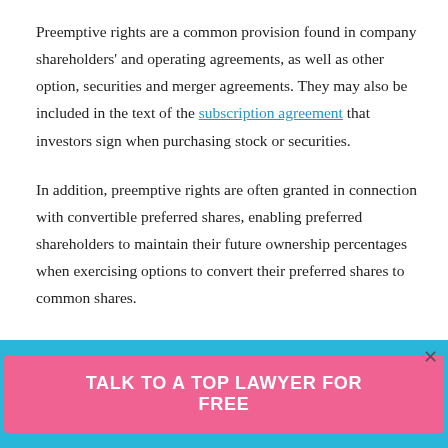Preemptive rights are a common provision found in company shareholders' and operating agreements, as well as other option, securities and merger agreements. They may also be included in the text of the subscription agreement that investors sign when purchasing stock or securities.
In addition, preemptive rights are often granted in connection with convertible preferred shares, enabling preferred shareholders to maintain their future ownership percentages when exercising options to convert their preferred shares to common shares.
Most states only consider preemptive rights valid if they are explicitly stated in a corporation's charter.
TALK TO A TOP LAWYER FOR FREE